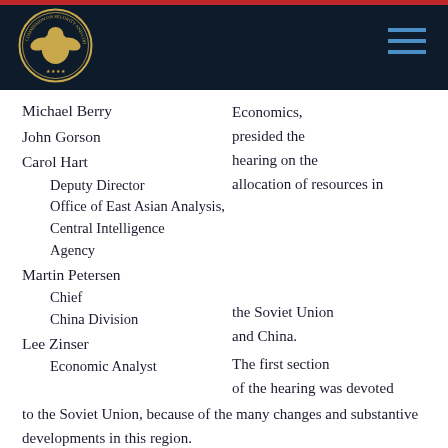[Figure (logo): Commission on Security and Cooperation in Europe seal/logo on dark navy header bar]
Michael Berry
John Gorson
Carol Hart
    Deputy Director
    Office of East Asian Analysis, Central Intelligence Agency
Martin Petersen
    Chief
    China Division
Lee Zinser
    Economic Analyst
Economics, presided the hearing on the allocation of resources in the Soviet Union and China. The first section of the hearing was devoted to the Soviet Union, because of the many changes and substantive developments in this region.
Since coming to power in March 1985, Mikhail Gorbachev had put forward the most ambitious